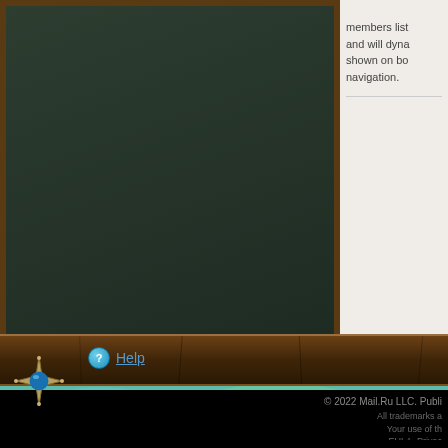[Figure (screenshot): Game UI screenshot showing a dark green panel (game interface) on the left, and a white panel on the right with partial text about members list. A decorative brown wooden frame bar runs horizontally with a blue gem star ornament at the bottom left corner.]
members list and will dyna shown on bo navigation.
Help
[Figure (screenshot): Fantasy game background scene showing colorful landscape with green hills, trees, and blurred scenery in teal and green tones.]
© 2022 Mail.Ru LLC. Publi
All trademarks a Your use of th EULA, Privac
Forum Software: B